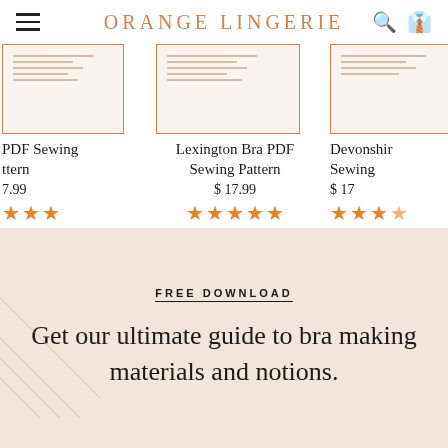ORANGE LINGERIE
[Figure (screenshot): Product thumbnail - PDF Sewing Pattern]
PDF Sewing Pattern
$ 17.99
[Figure (other): 2.5 star rating]
[Figure (screenshot): Product thumbnail - Lexington Bra PDF Sewing Pattern]
Lexington Bra PDF Sewing Pattern
$ 17.99
[Figure (other): 5 star rating]
[Figure (screenshot): Product thumbnail - Devonshire Sewing]
Devonshire Sewing
$ 17
[Figure (other): 3.5 star rating]
FREE DOWNLOAD
Get our ultimate guide to bra making materials and notions.